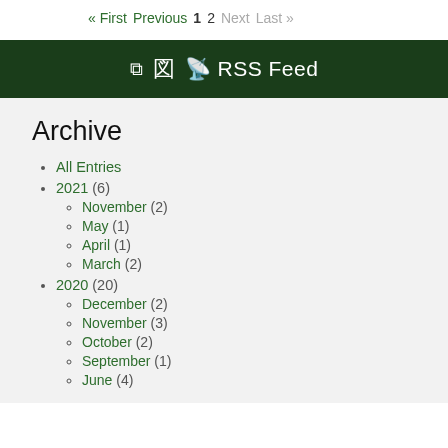« First  Previous  1  2  Next  Last »
📡 RSS Feed
Archive
All Entries
2021 (6)
November (2)
May (1)
April (1)
March (2)
2020 (20)
December (2)
November (3)
October (2)
September (1)
June (4)